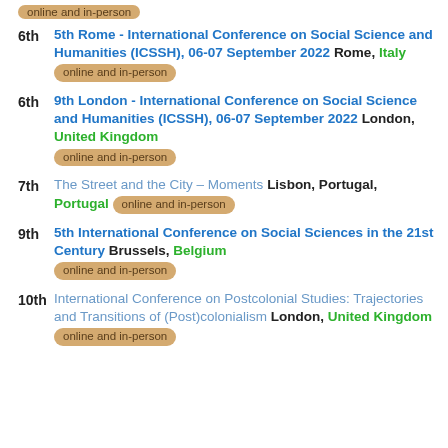online and in-person
6th  5th Rome - International Conference on Social Science and Humanities (ICSSH), 06-07 September 2022 Rome, Italy  online and in-person
6th  9th London - International Conference on Social Science and Humanities (ICSSH), 06-07 September 2022 London, United Kingdom  online and in-person
7th  The Street and the City – Moments Lisbon, Portugal, Portugal  online and in-person
9th  5th International Conference on Social Sciences in the 21st Century Brussels, Belgium  online and in-person
10th  International Conference on Postcolonial Studies: Trajectories and Transitions of (Post)colonialism London, United Kingdom  online and in-person